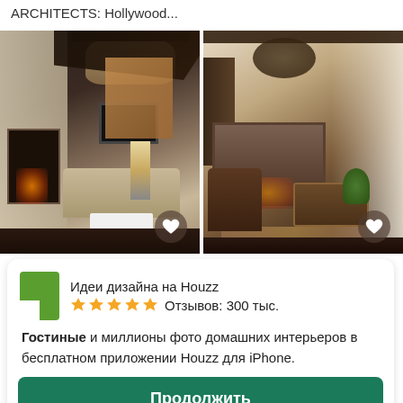ARCHITECTS: Hollywood...
[Figure (photo): Two interior design photos side by side: left shows a dark modern living room with chandelier, TV, fireplace, and beige sofas; right shows a rustic living room with wooden trunk coffee table, fireplace with tiled surround, bookshelves, and chandelier]
[Figure (infographic): Houzz app banner with green Houzz logo icon, app name 'Идеи дизайна на Houzz', 5 star rating, '300 тыс.' reviews, description text, green 'Продолжить' button, and 'Закрыть баннер' close link]